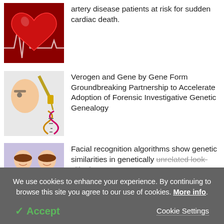[Figure (photo): Anatomical heart image with red ECG line background]
Polygenic risk score identifies coronary artery disease patients at risk for sudden cardiac death.
[Figure (photo): Scientist with syringe next to DNA double helix illustration]
Verogen and Gene by Gene Form Groundbreaking Partnership to Accelerate Adoption of Forensic Investigative Genetic Genealogy
[Figure (photo): Two look-alike young women on purple background]
Facial recognition algorithms show genetic similarities in genetically unrelated look-alike humans
We use cookies to enhance your experience. By continuing to browse this site you agree to our use of cookies. More info.
✓ Accept
Cookie Settings